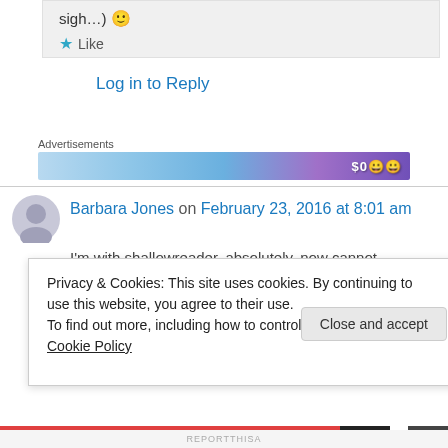sigh…) 🙂
★ Like
Log in to Reply
Advertisements
[Figure (other): Partial advertisement banner with blue gradient and price text $0.00]
Barbara Jones on February 23, 2016 at 8:01 am
I'm with shallowreader, absolutely, now cannot
Privacy & Cookies: This site uses cookies. By continuing to use this website, you agree to their use.
To find out more, including how to control cookies, see here: Cookie Policy
Close and accept